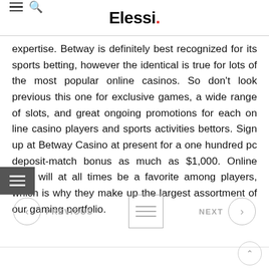Elessi.
expertise. Betway is definitely best recognized for its sports betting, however the identical is true for lots of the most popular online casinos. So don't look previous this one for exclusive games, a wide range of slots, and great ongoing promotions for each on line casino players and sports activities bettors. Sign up at Betway Casino at present for a one hundred pc deposit-match bonus as much as $1,000. Online slots will at all times be a favorite among players, which is why they make up the largest assortment of our gaming portfolio.
PREVIOUS  NEXT